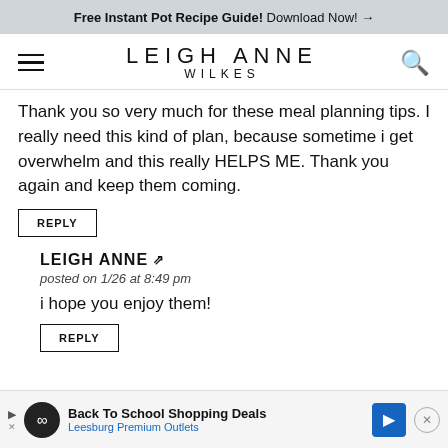Free Instant Pot Recipe Guide! Download Now! →
LEIGH ANNE WILKES
Thank you so very much for these meal planning tips. I really need this kind of plan, because sometime i get overwhelm and this really HELPS ME. Thank you again and keep them coming.
REPLY
LEIGH ANNE
posted on 1/26 at 8:49 pm
i hope you enjoy them!
REPLY
Back To School Shopping Deals
Leesburg Premium Outlets